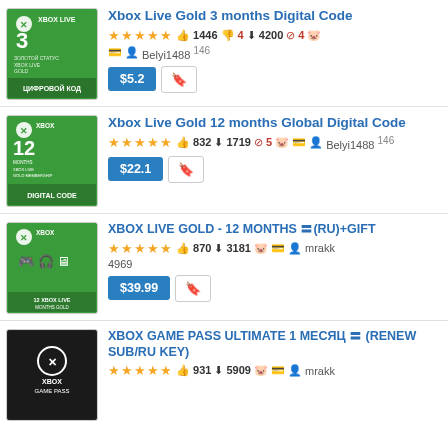Xbox Live Gold 3 months Digital Code — ★★★★★ 👍1446 👎4 ⬇4200 🚫4 🐷 💳 👤 Belyi1488 146 — $5.2
Xbox Live Gold 12 months Global Digital Code — ★★★★★ 👍832 ⬇1719 🚫5 🐷 💳 👤 Belyi1488 146 — $22.1
XBOX LIVE GOLD - 12 MONTHS 〓(RU)+GIFT — ★★★★★ 👍870 ⬇3181 🐷 💳 👤 mrakk 4969 — $39.99
XBOX GAME PASS ULTIMATE 1 МЕСЯЦ 〓 (RENEW SUB/RU KEY) — ★★★★★ 👍931 ⬇5909 🐷 💳 👤 mrakk